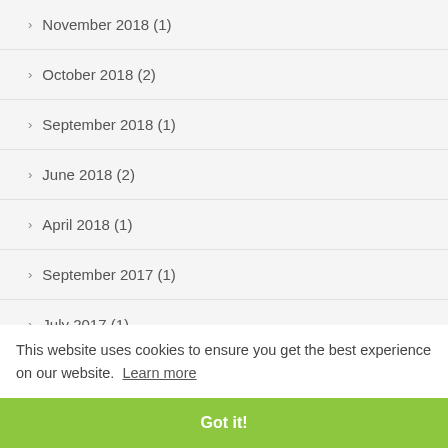November 2018 (1)
October 2018 (2)
September 2018 (1)
June 2018 (2)
April 2018 (1)
September 2017 (1)
July 2017 (1)
May 2017 (1)
March 2017 (1)
November 2016 (1)
October 2016 (1)
September 2016 (2)
This website uses cookies to ensure you get the best experience on our website. Learn more
Got it!